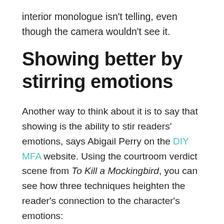interior monologue isn't telling, even though the camera wouldn't see it.
Showing better by stirring emotions
Another way to think about it is to say that showing is the ability to stir readers' emotions, says Abigail Perry on the DIY MFA website. Using the courtroom verdict scene from To Kill a Mockingbird, you can see how three techniques heighten the reader's connection to the character's emotions: